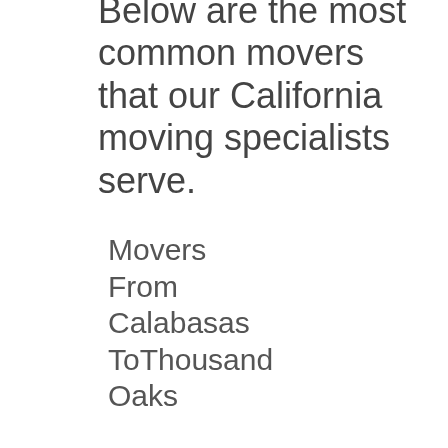Below are the most common movers that our California moving specialists serve.
Movers From Calabasas ToThousand Oaks
Are you searching for a reliable moving company that
Movers From Calabasas ToMoorpark
Our moving professionals operates